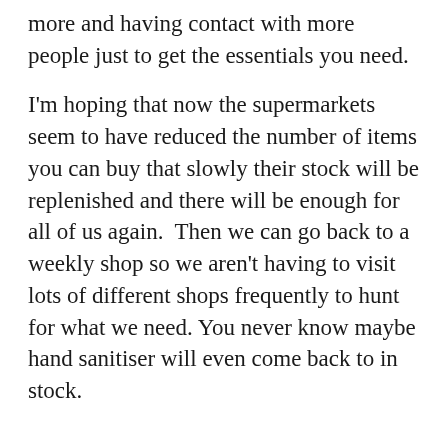more and having contact with more people just to get the essentials you need.
I'm hoping that now the supermarkets seem to have reduced the number of items you can buy that slowly their stock will be replenished and there will be enough for all of us again.  Then we can go back to a weekly shop so we aren't having to visit lots of different shops frequently to hunt for what we need. You never know maybe hand sanitiser will even come back to in stock.